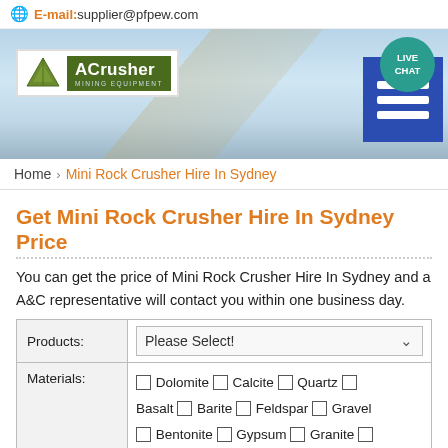E-mail:supplier@pfpew.com
[Figure (logo): ACrusher Mining Equipment logo with green triangle icon and dark green text box]
Home › Mini Rock Crusher Hire In Sydney
Get Mini Rock Crusher Hire In Sydney Price
You can get the price of Mini Rock Crusher Hire In Sydney and a A&C representative will contact you within one business day.
| Field | Value |
| --- | --- |
| Products: | Please Select! |
| Materials: | ☐ Dolomite ☐ Calcite ☐ Quartz ☐ Basalt ☐ Barite ☐ Feldspar ☐ Gravel ☐ Bentonite ☐ Gypsum ☐ Granite ☐ |